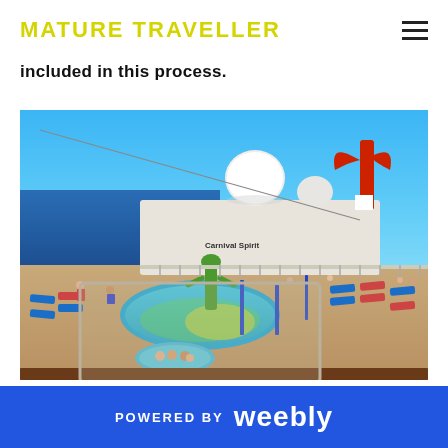MATURE TRAVELLER
included in this process.
[Figure (photo): Aerial view of a Carnival Spirit cruise ship deck showing a pool area with lounge chairs, blue ocean in background, and the ship's distinctive red funnel and white dome radar.]
POWERED BY weebly